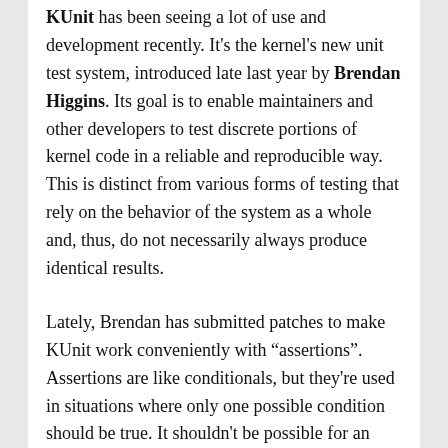KUnit has been seeing a lot of use and development recently. It's the kernel's new unit test system, introduced late last year by Brendan Higgins. Its goal is to enable maintainers and other developers to test discrete portions of kernel code in a reliable and reproducible way. This is distinct from various forms of testing that rely on the behavior of the system as a whole and, thus, do not necessarily always produce identical results.
Lately, Brendan has submitted patches to make KUnit work conveniently with "assertions". Assertions are like conditionals, but they're used in situations where only one possible condition should be true. It shouldn't be possible for an assertion to be false. And so if it is, the assertion triggers some kind of handler that the developer then uses to help debug the reasons behind the failure.
Unit tests and assertions are to some extent in opposition to each other—a unit test could trigger an assertion when the intention was to exercise the code being tested. Likewise, if a unit test does trigger an assertion, it could mean that the underlying assumptions made by the unit